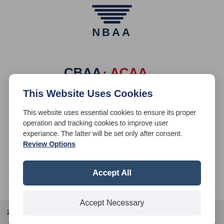[Figure (logo): NBAA logo with horizontal blue stripes and bold dark blue NBAA text]
[Figure (logo): CBAA·ACAA logo with red and dark blue text and tagline Canada's Voice For Business Aviation]
This Website Uses Cookies
This website uses essential cookies to ensure its proper operation and tracking cookies to improve user experiance. The latter will be set only after consent.
Review Options
Accept All
Accept Necessary
24 HOUR CONTACTS